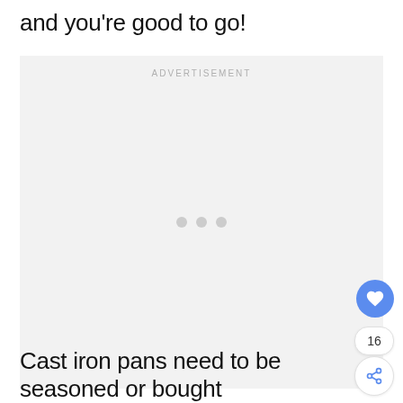and you're good to go!
[Figure (other): Advertisement placeholder box with 'ADVERTISEMENT' label and three loading dots in center]
Cast iron pans need to be seasoned or bought